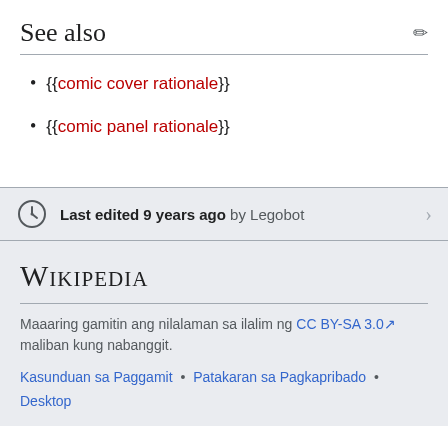See also
{{comic cover rationale}}
{{comic panel rationale}}
Last edited 9 years ago by Legobot
[Figure (logo): Wikipedia logo text in small caps serif font]
Maaaring gamitin ang nilalaman sa ilalim ng CC BY-SA 3.0 maliban kung nabanggit.
Kasunduan sa Paggamit • Patakaran sa Pagkapribado • Desktop